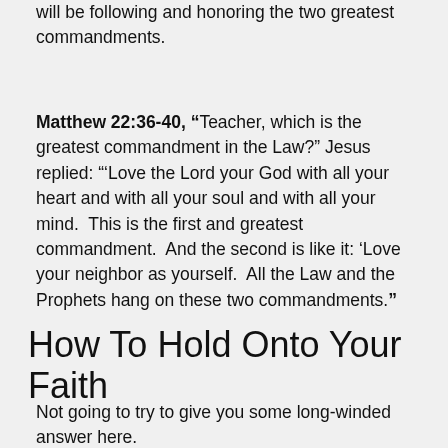will be following and honoring the two greatest commandments.
Matthew 22:36-40, “Teacher, which is the greatest commandment in the Law?” Jesus replied: “‘Love the Lord your God with all your heart and with all your soul and with all your mind. This is the first and greatest commandment. And the second is like it: ‘Love your neighbor as yourself. All the Law and the Prophets hang on these two commandments.”
How To Hold Onto Your Faith
Not going to try to give you some long-winded answer here.